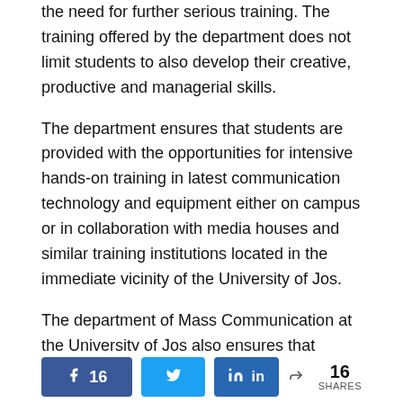the need for further serious training. The training offered by the department does not limit students to also develop their creative, productive and managerial skills.
The department ensures that students are provided with the opportunities for intensive hands-on training in latest communication technology and equipment either on campus or in collaboration with media houses and similar training institutions located in the immediate vicinity of the University of Jos.
The department of Mass Communication at the University of Jos also ensures that students are provided with the opportunity to master the art, science, and techniques of interfacing with the masses across all disciplines in print, broadcast, cinematographic arts, new media and marketing communications.
Share buttons: Facebook 16, Twitter, LinkedIn, 16 SHARES